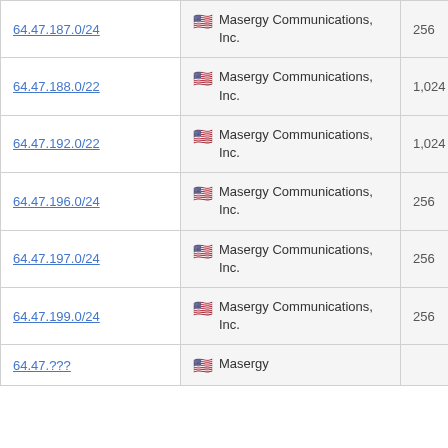| 64.47.187.0/24 | 🇺🇸 Masergy Communications, Inc. | 256 |
| 64.47.188.0/22 | 🇺🇸 Masergy Communications, Inc. | 1,024 |
| 64.47.192.0/22 | 🇺🇸 Masergy Communications, Inc. | 1,024 |
| 64.47.196.0/24 | 🇺🇸 Masergy Communications, Inc. | 256 |
| 64.47.197.0/24 | 🇺🇸 Masergy Communications, Inc. | 256 |
| 64.47.199.0/24 | 🇺🇸 Masergy Communications, Inc. | 256 |
| 64.47.???/?? | 🇺🇸 Masergy Communications, Inc. | ??? |